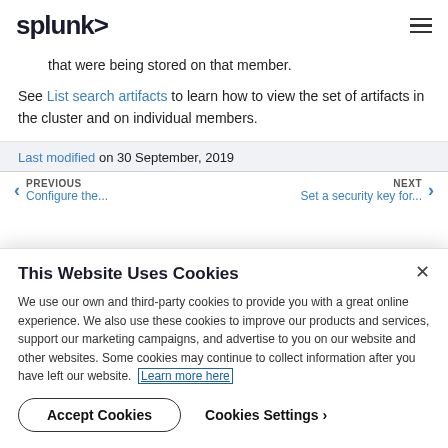splunk>
that were being stored on that member.
See List search artifacts to learn how to view the set of artifacts in the cluster and on individual members.
Last modified on 30 September, 2019
PREVIOUS Configure the...
NEXT Set a security key for...
This Website Uses Cookies
We use our own and third-party cookies to provide you with a great online experience. We also use these cookies to improve our products and services, support our marketing campaigns, and advertise to you on our website and other websites. Some cookies may continue to collect information after you have left our website. Learn more here
Accept Cookies   Cookies Settings ›